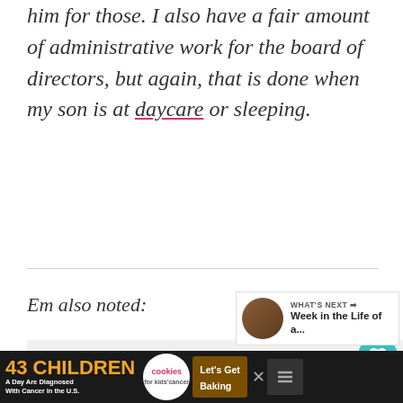him for those. I also have a fair amount of administrative work for the board of directors, but again, that is done when my son is at daycare or sleeping.
Em also noted:
[Figure (screenshot): Gray content placeholder box for a blockquote]
[Figure (infographic): UI elements: heart/like button (teal circle with heart icon), like count '1', share button]
[Figure (infographic): What's next panel: thumbnail image, label 'WHAT'S NEXT', title 'Week in the Life of a...']
[Figure (infographic): Advertisement bar: '43 CHILDREN A Day Are Diagnosed With Cancer in the U.S.' cookies for kids' cancer, Let's Get Baking]